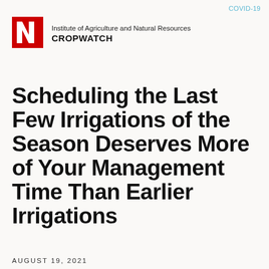COVID-19
[Figure (logo): University of Nebraska red N logo block]
Institute of Agriculture and Natural Resources
CROPWATCH
Scheduling the Last Few Irrigations of the Season Deserves More of Your Management Time Than Earlier Irrigations
AUGUST 19, 2021